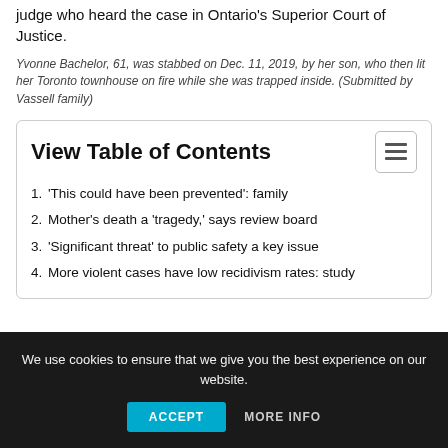judge who heard the case in Ontario's Superior Court of Justice.
Yvonne Bachelor, 61, was stabbed on Dec. 11, 2019, by her son, who then lit her Toronto townhouse on fire while she was trapped inside. (Submitted by Vassell family)
| View Table of Contents |
| --- |
| 1. 'This could have been prevented': family |
| 2. Mother's death a 'tragedy,' says review board |
| 3. 'Significant threat' to public safety a key issue |
| 4. More violent cases have low recidivism rates: study |
We use cookies to ensure that we give you the best experience on our website.